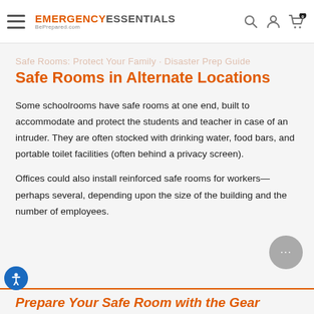EMERGENCY ESSENTIALS BePrepared.com
Safe Rooms in Alternate Locations
Some schoolrooms have safe rooms at one end, built to accommodate and protect the students and teacher in case of an intruder. They are often stocked with drinking water, food bars, and portable toilet facilities (often behind a privacy screen).
Offices could also install reinforced safe rooms for workers—perhaps several, depending upon the size of the building and the number of employees.
Prepare Your Safe Room with the Gear